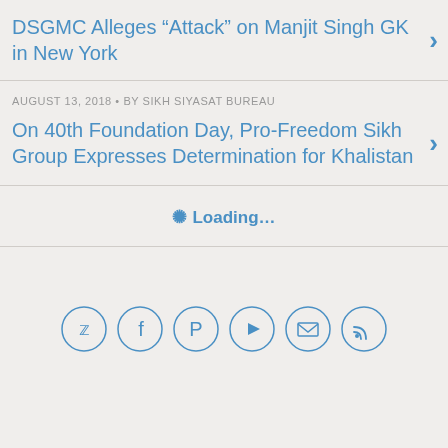DSGMC Alleges “Attack” on Manjit Singh GK in New York
AUGUST 13, 2018 • BY SIKH SIYASAT BUREAU
On 40th Foundation Day, Pro-Freedom Sikh Group Expresses Determination for Khalistan
Loading...
[Figure (infographic): Row of 6 circular social media icon buttons: Twitter, Facebook, Pinterest, YouTube, Email, RSS]